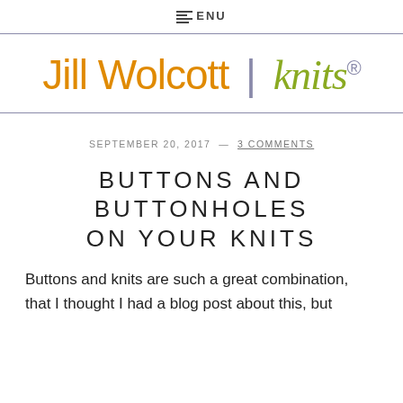MENU
[Figure (logo): Jill Wolcott | knits® logo with orange 'Jill Wolcott', gray vertical bar, olive/green cursive 'knits' and registered trademark symbol]
SEPTEMBER 20, 2017 — 3 COMMENTS
BUTTONS AND BUTTONHOLES ON YOUR KNITS
Buttons and knits are such a great combination, that I thought I had a blog post about this, but